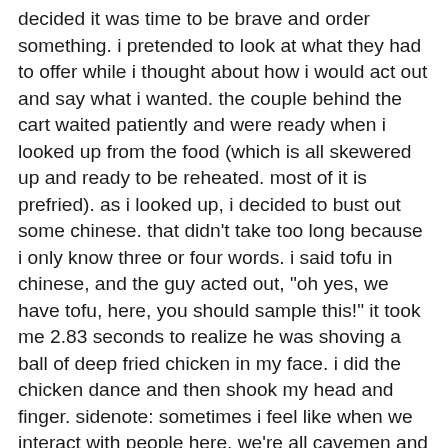decided it was time to be brave and order something. i pretended to look at what they had to offer while i thought about how i would act out and say what i wanted. the couple behind the cart waited patiently and were ready when i looked up from the food (which is all skewered up and ready to be reheated. most of it is prefried). as i looked up, i decided to bust out some chinese. that didn't take too long because i only know three or four words. i said tofu in chinese, and the guy acted out, "oh yes, we have tofu, here, you should sample this!" it took me 2.83 seconds to realize he was shoving a ball of deep fried chicken in my face. i did the chicken dance and then shook my head and finger. sidenote: sometimes i feel like when we interact with people here, we're all cavemen and we don't have a language to use. everything is done with our hands, grunts, and facial expressions. just give me a club and i'll be set. after that, i quickly handed them a piece of paper that has something to the effect of "can we please have two dishes with vegetables or tofu," that someone from school had written for us in chinese characters and i said "tofu" again in chinese (which is like saying "dofu" but with an italian accent). he smiled and pointed to the tofu that had just a little fried batter on it. we